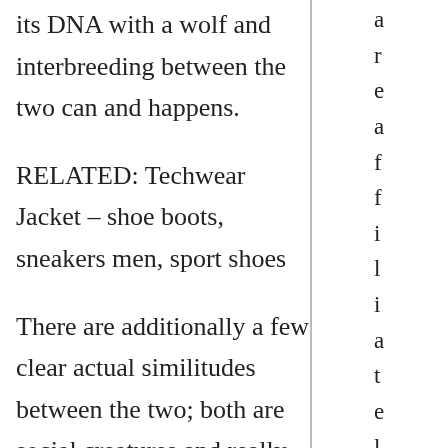its DNA with a wolf and interbreeding between the two can and happens.
RELATED: Techwear Jacket – shoe boots, sneakers men, sport shoes
There are additionally a few clear actual similitudes between the two; both are social creatures and really like to carry on with life in a pack, the two shows huge unwaveringness to pack individuals (be it human or creature) and the homegrown canine and wolf each have a development time of roughly 63
a r e a f f i l i a t e l i n k s